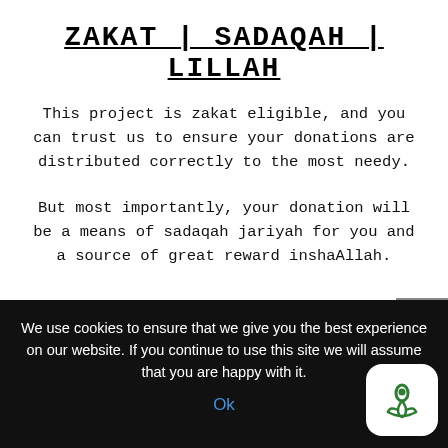ZAKAT | SADAQAH | LILLAH
This project is zakat eligible, and you can trust us to ensure your donations are distributed correctly to the most needy.
But most importantly, your donation will be a means of sadaqah jariyah for you and a source of great reward inshaAllah.
[Figure (other): DONATE button (dark red rounded rectangle) and scroll-up arrow button (grey square)]
We use cookies to ensure that we give you the best experience on our website. If you continue to use this site we will assume that you are happy with it.
Ok
[Figure (logo): White rounded square app icon with green hand/water drop charity logo]